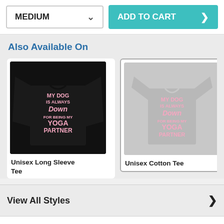MEDIUM
ADD TO CART
Also Available On
[Figure (photo): Black unisex long sleeve tee with pink text: MY DOG IS ALWAYS Down FOR BEING MY YOGA PARTNER]
Unisex Long Sleeve Tee
[Figure (photo): Grey unisex cotton tee with pink text: MY DOG IS ALWAYS Down FOR BEING MY YOGA PARTNER]
Unisex Cotton Tee
[Figure (photo): Partial view of Women's Co grey tee with pink text]
Women's Co
View All Styles
Product Story